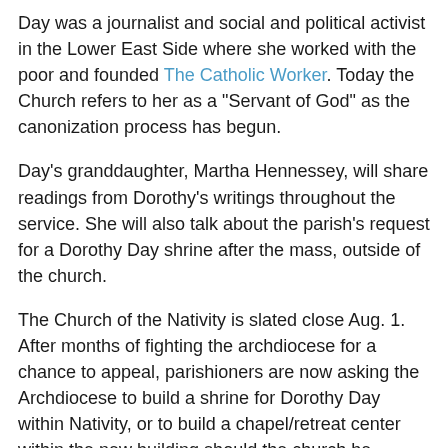Day was a journalist and social and political activist in the Lower East Side where she worked with the poor and founded The Catholic Worker. Today the Church refers to her as a "Servant of God" as the canonization process has begun.
Day's granddaughter, Martha Hennessey, will share readings from Dorothy's writings throughout the service. She will also talk about the parish's request for a Dorothy Day shrine after the mass, outside of the church.
The Church of the Nativity is slated close Aug. 1. After months of fighting the archdiocese for a chance to appeal, parishioners are now asking the Archdiocese to build a shrine for Dorothy Day within Nativity, or to build a chapel/retreat center within the new building should the church be demolished. Nativity was the parish of Dorothy Day.
The New York Times has more on this in an article from Monday titled Invoking the Radical Spirit of Dorothy Day to Fight a Church Closing.